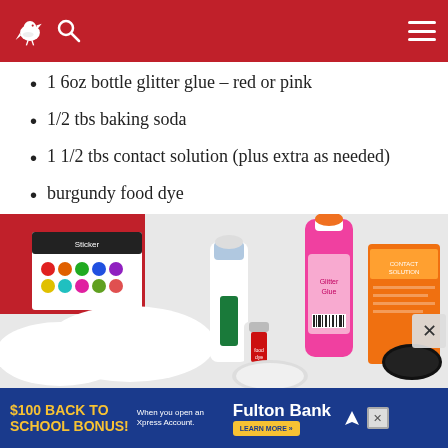1 6oz bottle glitter glue – red or pink
1/2 tbs baking soda
1 1/2 tbs contact solution (plus extra as needed)
burgundy food dye
[Figure (photo): Slime ingredients laid out on a white and red background: a Santa hat, colorful dot sticker pack, white glue bottle, pink glitter glue bottle, orange contact solution box, small red food dye container, and a black lid.]
[Figure (screenshot): Advertisement banner: $100 BACK TO SCHOOL BONUS! Fulton Bank. When you open an Xpress Account. LEARN MORE button. With close X button.]